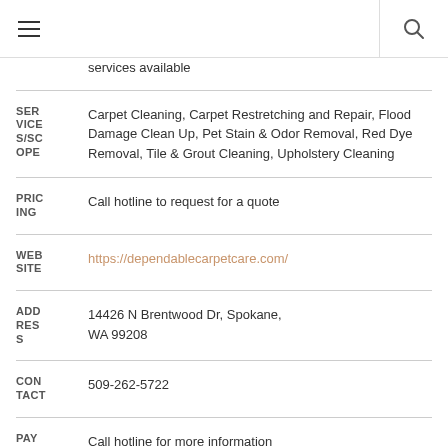≡  🔍
services available
| Label | Value |
| --- | --- |
| SERVICES/SCOPE | Carpet Cleaning, Carpet Restretching and Repair, Flood Damage Clean Up, Pet Stain & Odor Removal, Red Dye Removal, Tile & Grout Cleaning, Upholstery Cleaning |
| PRICING | Call hotline to request for a quote |
| WEBSITE | https://dependablecarpetcare.com/ |
| ADDRESS | 14426 N Brentwood Dr, Spokane, WA 99208 |
| CONTACT | 509-262-5722 |
| PAYMENT | Call hotline for more information |